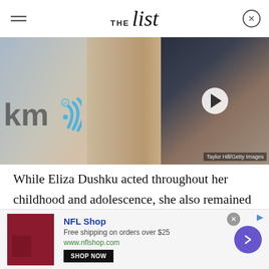THE list
[Figure (photo): Left half: woman with dark hair at SiriusXM studio (Eliza Dushku). Right half: woman with red hair (video thumbnail with play button). Caption overlay: Taylor Hill/Getty Images]
While Eliza Dushku acted throughout her childhood and adolescence, she also remained focused on her studies. She told Bella Magazine that her mother ensured that she never let acting interfere with her schoolwork and encouraged her to continue her
[Figure (other): NFL Shop advertisement banner. Shows NFL Shop logo and product image. Text: NFL Shop, Free shipping on orders over $25, www.nflshop.com, SHOP NOW button. Blue arrow button on right.]